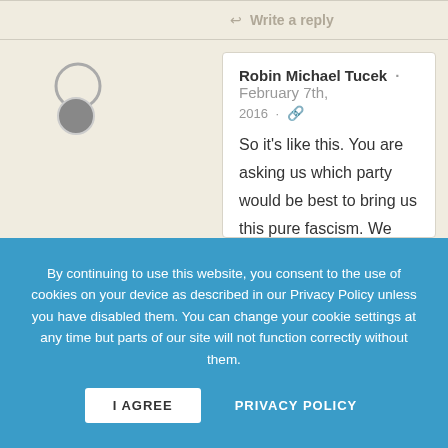↩ Write a reply
Robin Michael Tucek · February 7th, 2016 · 🔗

So it's like this. You are asking us which party would be best to bring us this pure fascism. We need to get rid of the people behind this scheme. The world should be run for the benefit of people, not big
By continuing to use this website, you consent to the use of cookies on your device as described in our Privacy Policy unless you have disabled them. You can change your cookie settings at any time but parts of our site will not function correctly without them.
I AGREE    PRIVACY POLICY